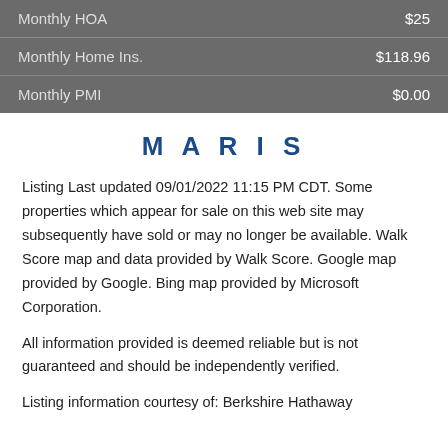|  |  |
| --- | --- |
| Monthly HOA | $25 |
| Monthly Home Ins. | $118.96 |
| Monthly PMI | $0.00 |
MARIS
Listing Last updated 09/01/2022 11:15 PM CDT. Some properties which appear for sale on this web site may subsequently have sold or may no longer be available. Walk Score map and data provided by Walk Score. Google map provided by Google. Bing map provided by Microsoft Corporation.
All information provided is deemed reliable but is not guaranteed and should be independently verified.
Listing information courtesy of: Berkshire Hathaway